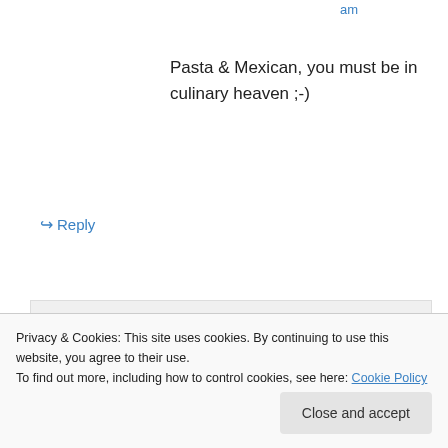am
Pasta & Mexican, you must be in culinary heaven ;-)
↪ Reply
tinywhitecottage on March 3, 2014 at 11:06 am
You know me well Marie…you know me well. :)
Privacy & Cookies: This site uses cookies. By continuing to use this website, you agree to their use.
To find out more, including how to control cookies, see here: Cookie Policy